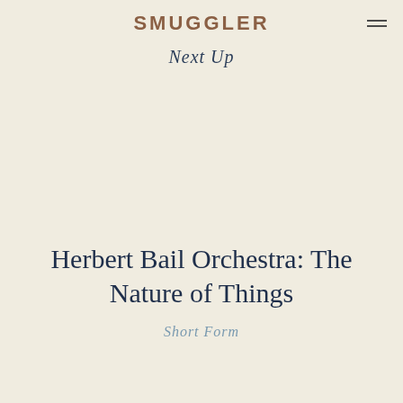SMUGGLER
Next Up
Herbert Bail Orchestra: The Nature of Things
Short Form